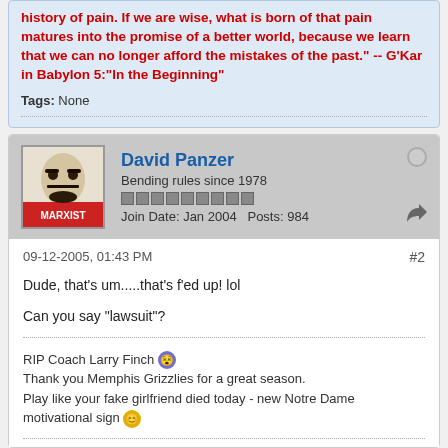history of pain. If we are wise, what is born of that pain matures into the promise of a better world, because we learn that we can no longer afford the mistakes of the past." -- G'Kar in Babylon 5:"In the Beginning"
Tags: None
David Panzer
Bending rules since 1978
Join Date: Jan 2004   Posts: 984
09-12-2005, 01:43 PM
#2
Dude, that's um.....that's f'ed up! lol

Can you say "lawsuit"?
RIP Coach Larry Finch
Thank you Memphis Grizzlies for a great season.
Play like your fake girlfriend died today - new Notre Dame motivational sign